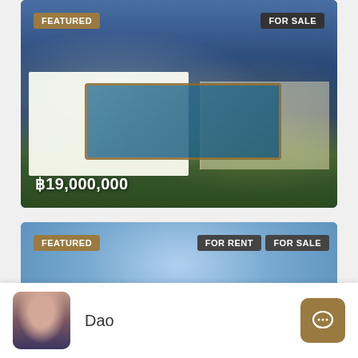[Figure (photo): Featured property photo showing a modern villa with open-plan living area, ceiling fan, sofa set, swimming pool, and warm-lit rooms at dusk. Tags: FEATURED (top-left), FOR SALE (top-right). Price: ฿19,000,000 (bottom-left).]
[Figure (photo): Featured property photo showing a modern house with a blue sky and clouds in the background. Tags: FEATURED (top-left), FOR RENT (top-right area), FOR SALE (top-right).]
Dao